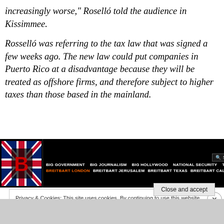increasingly worse," Roselló told the audience in Kissimmee.

Rosselló was referring to the tax law that was signed a few weeks ago. The new law could put companies in Puerto Rico at a disadvantage because they will be treated as offshore firms, and therefore subject to higher taxes than those based in the mainland.
[Figure (screenshot): Breitbart news website header/navigation bar showing logo with Union Jack flag and 'B' letter, navigation items: BIG GOVERNMENT, BIG JOURNALISM, BIG HOLLYWOOD, NATIONAL SECURITY, TECH, VIDEO, and sub-navigation: BREITBART LONDON (orange), BREITBART JERUSALEM, BREITBART TEXAS, BREITBART CALIFORNIA, with a SEARCH button on the right.]
Privacy & Cookies: This site uses cookies. By continuing to use this website, you agree to their use.
To find out more, including how to control cookies, see here: Cookie Policy